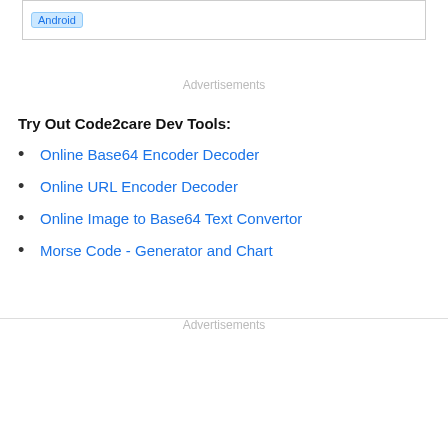[Figure (screenshot): A box with an 'Android' tag/badge in blue highlighted text]
Advertisements
Try Out Code2care Dev Tools:
Online Base64 Encoder Decoder
Online URL Encoder Decoder
Online Image to Base64 Text Convertor
Morse Code - Generator and Chart
Advertisements